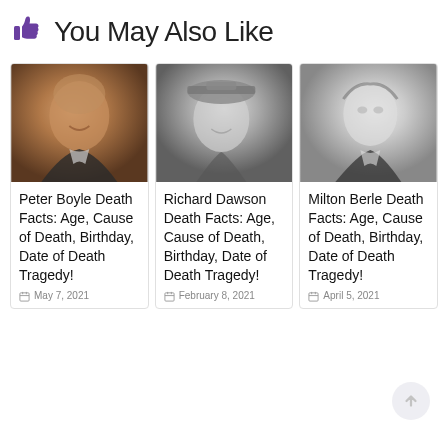👍 You May Also Like
[Figure (photo): Photo of Peter Boyle, an older bald man smiling, warm tones]
Peter Boyle Death Facts: Age, Cause of Death, Birthday, Date of Death Tragedy!
May 7, 2021
[Figure (photo): Black and white photo of Richard Dawson wearing a cap, smiling]
Richard Dawson Death Facts: Age, Cause of Death, Birthday, Date of Death Tragedy!
February 8, 2021
[Figure (photo): Black and white photo of Milton Berle, a man in suit looking to the side]
Milton Berle Death Facts: Age, Cause of Death, Birthday, Date of Death Tragedy!
April 5, 2021